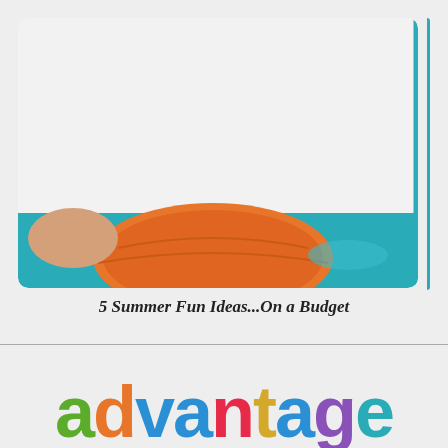[Figure (photo): A photo showing what appears to be a beach ball or inflatable toy in orange/red tones with teal/blue water surroundings, cropped at the bottom of a rounded white frame with a teal border on the right side.]
5 Summer Fun Ideas...On a Budget
advantage